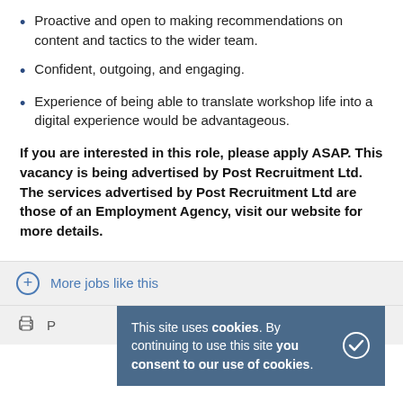Proactive and open to making recommendations on content and tactics to the wider team.
Confident, outgoing, and engaging.
Experience of being able to translate workshop life into a digital experience would be advantageous.
If you are interested in this role, please apply ASAP. This vacancy is being advertised by Post Recruitment Ltd. The services advertised by Post Recruitment Ltd are those of an Employment Agency, visit our website for more details.
More jobs like this
This site uses cookies. By continuing to use this site you consent to our use of cookies.